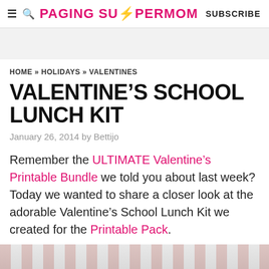≡ 🔍 PAGING SUPERMOM   SUBSCRIBE
HOME » HOLIDAYS » VALENTINES
VALENTINE'S SCHOOL LUNCH KIT
January 26, 2014 by Bettijo
Remember the ULTIMATE Valentine's Printable Bundle we told you about last week? Today we wanted to share a closer look at the adorable Valentine's School Lunch Kit we created for the Printable Pack.
[Figure (photo): Partial photo showing a red and white striped cup or Valentine lunch kit item]